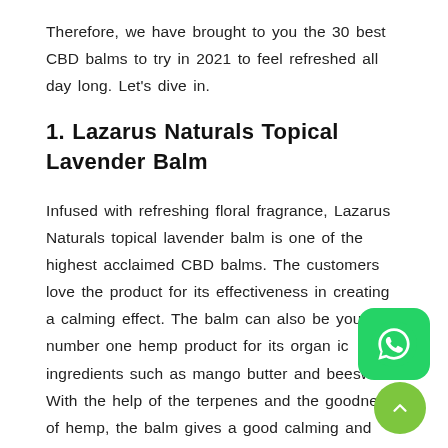Therefore, we have brought to you the 30 best CBD balms to try in 2021 to feel refreshed all day long. Let's dive in.
1. Lazarus Naturals Topical Lavender Balm
Infused with refreshing floral fragrance, Lazarus Naturals topical lavender balm is one of the highest acclaimed CBD balms. The customers love the product for its effectiveness in creating a calming effect. The balm can also be your number one hemp product for its organic ingredients such as mango butter and beeswax. With the help of the terpenes and the goodness of hemp, the balm gives a good calming and soothing treatment to your muscles.